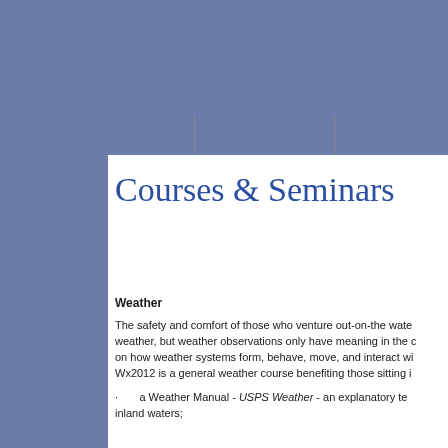Courses & Seminars
Weather
The safety and comfort of those who venture out-on-the water depends on weather, but weather observations only have meaning in the context of knowledge on how weather systems form, behave, move, and interact wi... Wx2012 is a general weather course benefiting those sitting i...
· a Weather Manual - USPS Weather - an explanatory te... inland waters;